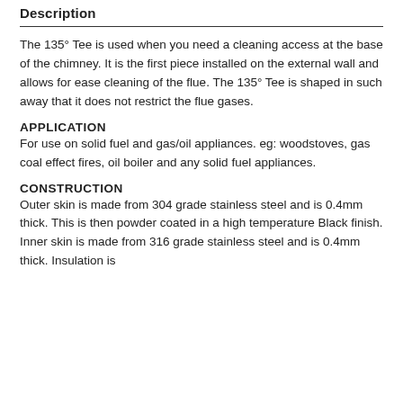Description
The 135° Tee is used when you need a cleaning access at the base of the chimney. It is the first piece installed on the external wall and allows for ease cleaning of the flue. The 135° Tee is shaped in such away that it does not restrict the flue gases.
APPLICATION
For use on solid fuel and gas/oil appliances. eg: woodstoves, gas coal effect fires, oil boiler and any solid fuel appliances.
CONSTRUCTION
Outer skin is made from 304 grade stainless steel and is 0.4mm thick. This is then powder coated in a high temperature Black finish. Inner skin is made from 316 grade stainless steel and is 0.4mm thick. Insulation is